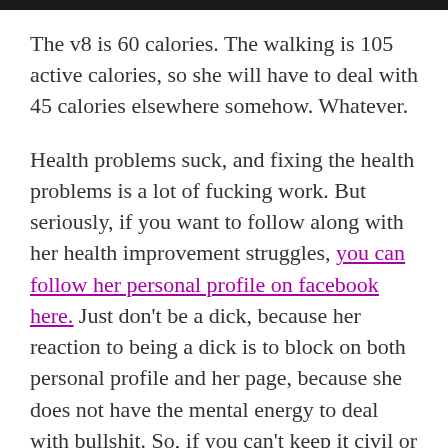The v8 is 60 calories. The walking is 105 active calories, so she will have to deal with 45 calories elsewhere somehow. Whatever.
Health problems suck, and fixing the health problems is a lot of fucking work. But seriously, if you want to follow along with her health improvement struggles, you can follow her personal profile on facebook here. Just don't be a dick, because her reaction to being a dick is to block on both personal profile and her page, because she does not have the mental energy to deal with bullshit. So, if you can't keep it civil or resist name calling because you disagree, we recommend just remaining quiet. (And if that